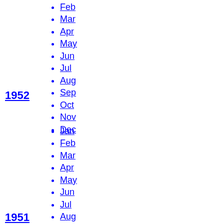Feb
Mar
Apr
May
Jun
Jul
Aug
Sep
Oct
Nov
Dec
1952
Jan
Feb
Mar
Apr
May
Jun
Jul
Aug
Sep
Oct
Nov
Dec
1951